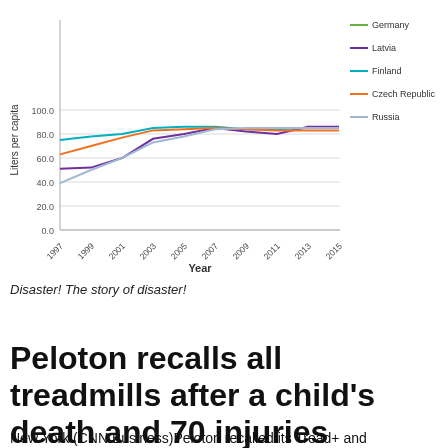[Figure (line-chart): ]
Disaster! The story of disaster!
Peloton recalls all treadmills after a child's death and 70 injuries
New York (CNN Business)Peloton recalled its Tread+ and